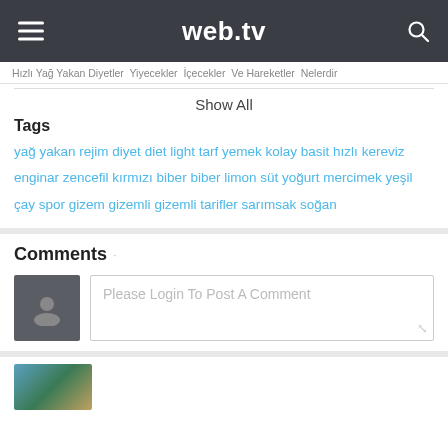web.tv
Hızlı Yağ Yakan Diyetler  Yiyecekler  İçecekler  Ve Hareketler  Nelerdir
Show All
Tags
yağ yakan  rejim  diyet  diet  light  tarf  yemek  kolay  basit  hızlı  kereviz  enginar  zencefil  kırmızı biber  biber  limon  süt  yoğurt  mercimek  yeşil çay  spor  gizem  gizemli  gizemli tarifler  sarımsak  soğan
Comments
Please Login To Post A Comment